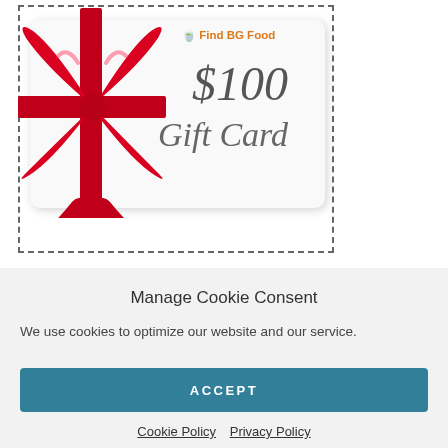[Figure (illustration): A $100 Gift Card image with a red ribbon bow on the left side, displayed inside a dashed border box. The card shows 'Find BG Food' label at top in orange, '$100' in italic serif font, and 'Gift Card' in italic script font.]
Manage Cookie Consent
We use cookies to optimize our website and our service.
ACCEPT
Cookie Policy   Privacy Policy